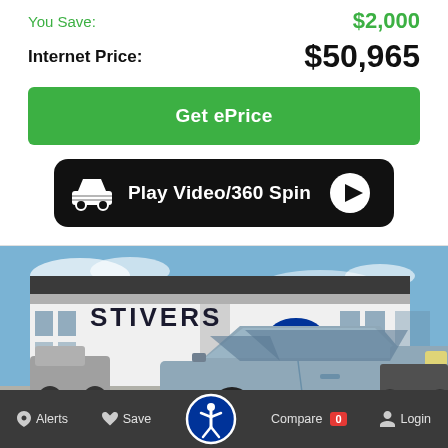You Save: $2,000
Internet Price: $50,965
Get ePrice
[Figure (screenshot): Black pill-shaped button with car icon on left, 'Play Video/360 Spin' text in white, and a white play button circle on the right]
[Figure (photo): Ford F-150 pickup truck parked in front of Stivers Ford dealership on a sunny day]
Alerts  Save  Compare 0  Login